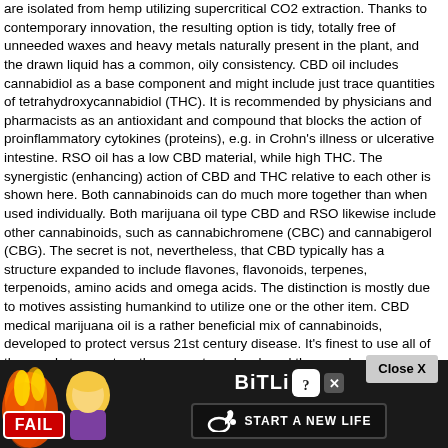are isolated from hemp utilizing supercritical CO2 extraction. Thanks to contemporary innovation, the resulting option is tidy, totally free of unneeded waxes and heavy metals naturally present in the plant, and the drawn liquid has a common, oily consistency. CBD oil includes cannabidiol as a base component and might include just trace quantities of tetrahydroxycannabidiol (THC). It is recommended by physicians and pharmacists as an antioxidant and compound that blocks the action of proinflammatory cytokines (proteins), e.g. in Crohn's illness or ulcerative intestine. RSO oil has a low CBD material, while high THC. The synergistic (enhancing) action of CBD and THC relative to each other is shown here. Both cannabinoids can do much more together than when used individually. Both marijuana oil type CBD and RSO likewise include other cannabinoids, such as cannabichromene (CBC) and cannabigerol (CBG). The secret is not, nevertheless, that CBD typically has a structure expanded to include flavones, flavonoids, terpenes, terpenoids, amino acids and omega acids. The distinction is mostly due to motives assisting humankind to utilize one or the other item. CBD medical marijuana oil is a rather beneficial mix of cannabinoids, developed to protect versus 21st century disease. It's finest to use all of these substances together, as nature developed them and confined in marijuana inflorescences. Oil of marijuana in a sort of hobby APR contains percentages of CBD, balanced by the existence of THC. Manufacturers concentrate on the synergistic result of one substance relative to the other, while abandoning the existence of CBC and CBG. Is such a choice? – Modern scientific research study shows that CBD + THC cope with major autoimmune illness, while CBC or CBG reveal very little activity in the existence of both compounds, simply like terpenes, flavones or flavonoids, therefore their material in the option appears to be unneeded. In addition, the cannabis strain from which THC and RSO are obtained include minimal quantities of other cannabinoids. RSO oil is completely unlawful in Poland, which is why it can not be acquired in any legally operating store on the marketplace. Naturally, there are a variety of amateur approaches for obtaining it, but it's not good to use them. Solvents are unpredictably dangerous, untested, and the resulting mixture Family RSO is also used as fuel, alcohol and the
[Figure (other): Advertisement banner for BitLife game at the bottom of the page, featuring a 'FAIL' badge overlay on a cartoon character with fire graphics on the left, the BitLife logo with question mark and X icons, and a 'START A NEW LIFE' button on a black background.]